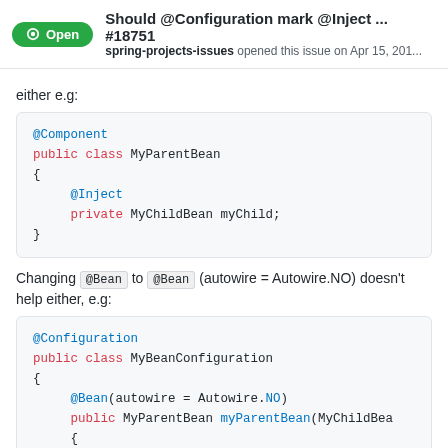Should @Configuration mark @Inject ... #18751 spring-projects-issues opened this issue on Apr 15, 201...
either e.g:
@Component
public class MyParentBean
{
    @Inject
    private MyChildBean myChild;
}
Changing @Bean to @Bean (autowire = Autowire.NO) doesn't help either, e.g:
@Configuration
public class MyBeanConfiguration
{
    @Bean(autowire = Autowire.NO)
    public MyParentBean myParentBean(MyChildBea
    {
        MyParentBean myParentBean = new MyP
        myParentBean.setMyChild(childBeanA)